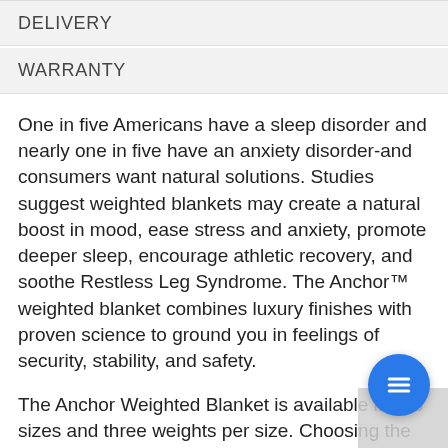DELIVERY
WARRANTY
One in five Americans have a sleep disorder and nearly one in five have an anxiety disorder-and consumers want natural solutions. Studies suggest weighted blankets may create a natural boost in mood, ease stress and anxiety, promote deeper sleep, encourage athletic recovery, and soothe Restless Leg Syndrome. The Anchor™ weighted blanket combines luxury finishes with proven science to ground you in feelings of security, stability, and safety.
The Anchor Weighted Blanket is available in two sizes and three weights per size. Choosing the right weight for a weighted blanket is simple. A blanket should be around ten to